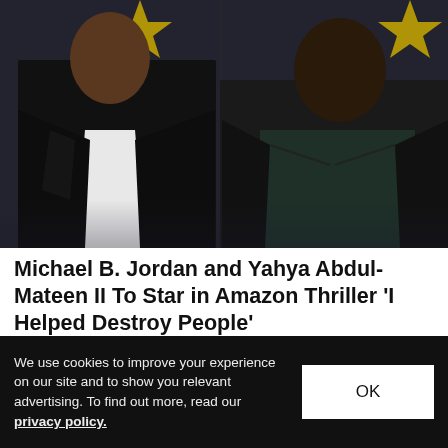[Figure (photo): Two men standing at a formal event. On the left, a man in a black tuxedo with a white shirt. On the right, a man in a dark green turtleneck with a black leather jacket. Dark background with partial star decoration visible.]
Michael B. Jordan and Yahya Abdul-Mateen II To Star in Amazon Thriller 'I Helped Destroy People'
Based on a 2021 'New York Times' article.
We use cookies to improve your experience on our site and to show you relevant advertising. To find out more, read our privacy policy.